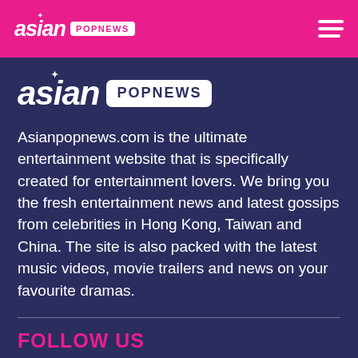asian POPNEWS
[Figure (logo): Asian Popnews logo with 'asian' in white italic text and 'POPNEWS' in a white pill/badge on dark navy background]
Asianpopnews.com is the ultimate entertainment website that is specifically created for entertainment lovers. We bring you the fresh entertainment news and latest gossips from celebrities in Hong Kong, Taiwan and China. The site is also packed with the latest music videos, movie trailers and news on your favourite dramas.
FOLLOW US